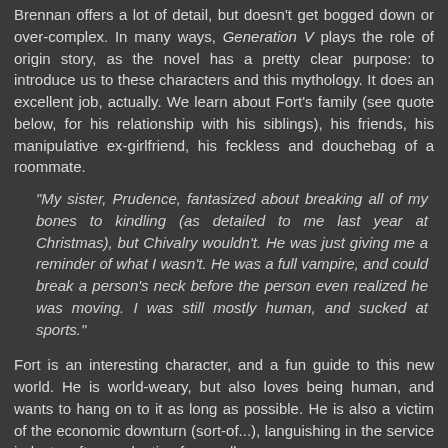Brennan offers a lot of detail, but doesn't get bogged down or over-complex. In many ways, Generation V plays the role of origin story, as the novel has a pretty clear purpose: to introduce us to these characters and this mythology. It does an excellent job, actually. We learn about Fort's family (see quote below, for his relationship with his siblings), his friends, his manipulative ex-girlfriend, his feckless and douchebag of a roommate.
“My sister, Prudence, fantasized about breaking all of my bones to kindling (as detailed to me last year at Christmas), but Chivalry wouldn’t. He was just giving me a reminder of what I wasn’t. He was a full vampire, and could break a person’s neck before the person even realized he was moving. I was still mostly human, and sucked at sports.”
Fort is an interesting character, and a fun guide to this new world. He is world-weary, but also loves being human, and wants to hang on to it as long as possible. He is also a victim of the economic downturn (sort-of...), languishing in the service industry after graduating from college.